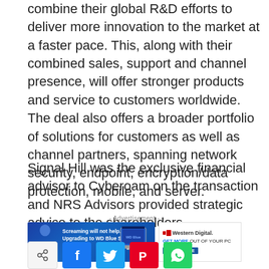combine their global R&D efforts to deliver more innovation to the market at a faster pace. This, along with their combined sales, support and channel presence, will offer stronger products and service to customers worldwide. The deal also offers a broader portfolio of solutions for customers as well as channel partners, spanning network security, endpoint, encryption/data protection, mobile, and server.
Signal Hill was the exclusive financial advisor to Cyberoam on the transaction and NRS Advisors provided strategic advice to the shareholders.
[Figure (infographic): Western Digital advertisement banner: 'Screaming will not help. Upgrading to WD Blue SSD will.' with GET MORE OUT OF YOUR PC tagline and LEARN MORE button]
[Figure (infographic): Social share buttons: share icon, Facebook (f), Twitter (bird), Pinterest (p), WhatsApp (phone)]